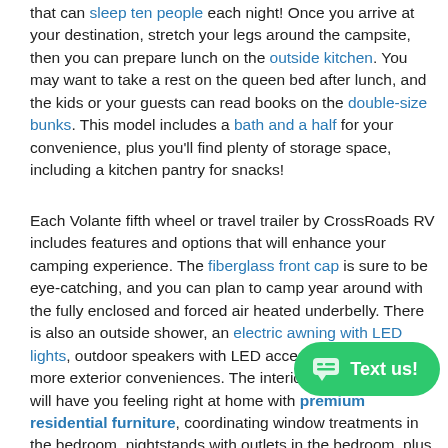that can sleep ten people each night! Once you arrive at your destination, stretch your legs around the campsite, then you can prepare lunch on the outside kitchen. You may want to take a rest on the queen bed after lunch, and the kids or your guests can read books on the double-size bunks. This model includes a bath and a half for your convenience, plus you'll find plenty of storage space, including a kitchen pantry for snacks!
Each Volante fifth wheel or travel trailer by CrossRoads RV includes features and options that will enhance your camping experience. The fiberglass front cap is sure to be eye-catching, and you can plan to camp year around with the fully enclosed and forced air heated underbelly. There is also an outside shower, an electric awning with LED lights, outdoor speakers with LED accents, plus many more exterior conveniences. The interior of each Volante will have you feeling right at home with premium residential furniture, coordinating window treatments in the bedroom, nightstands with outlets in the bedroom, plus USB ports to keep your electronics charged. You will also appreciate a 13,500 BTU A/C, plus solar power prep